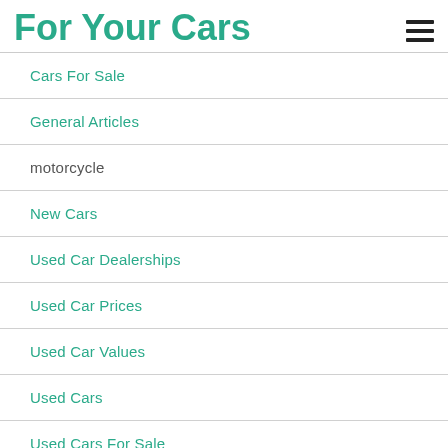For Your Cars
Cars For Sale
General Articles
motorcycle
New Cars
Used Car Dealerships
Used Car Prices
Used Car Values
Used Cars
Used Cars For Sale
Used Trucks